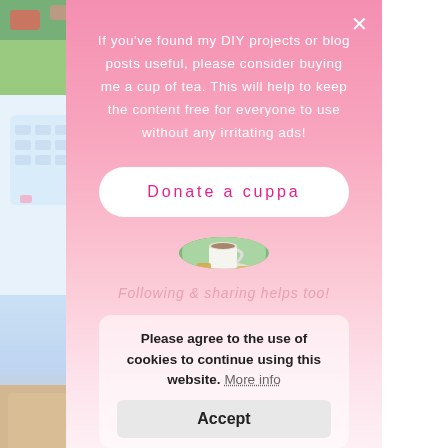[Figure (screenshot): Blog website screenshot showing thumbnail images on left and teal/blue text links on right side, partially obscured by a modal popup overlay]
If you've found my DIY projects or blog posts useful, please consider buying me a cup of tea. This will help to keep the content free for everyone to use without any irritating ads!
Donate a cuppa
[Figure (photo): Circular photo of a cup of tea with biscuits on a plate, set on a wooden surface outdoors]
Following & sharing helps too!
Please agree to the use of cookies to continue using this website. More info
Accept